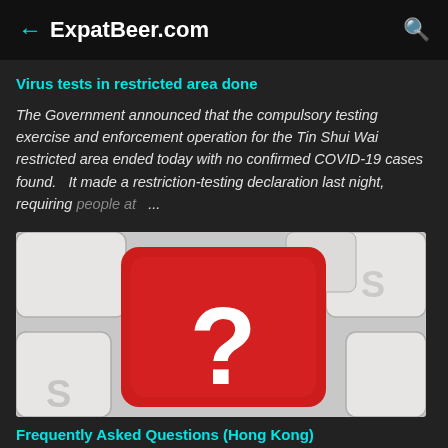ExpatBeer.com
Virus tests in restricted area done
The Government announced that the compulsory testing exercise and enforcement operation for the Tin Shui Wai restricted area ended today with no confirmed COVID-19 cases found.   It made a restriction-testing declaration last night, requiring people at ...
[Figure (photo): Close-up photo of a red keyboard key with a white question mark on it, surrounded by white keyboard keys]
Frequently Asked Questions (Hong Kong)
...